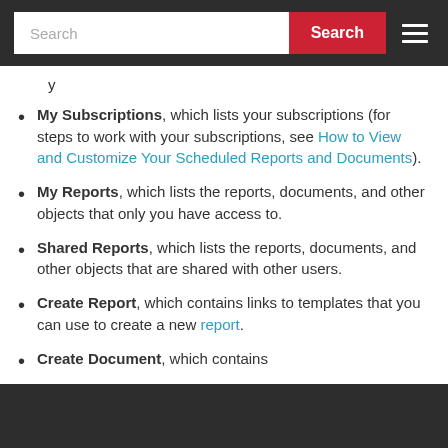Search
My Subscriptions, which lists your subscriptions (for steps to work with your subscriptions, see How to View and Customize Your Scheduled Reports and Documents).
My Reports, which lists the reports, documents, and other objects that only you have access to.
Shared Reports, which lists the reports, documents, and other objects that are shared with other users.
Create Report, which contains links to templates that you can use to create a new report.
Create Document, which contains